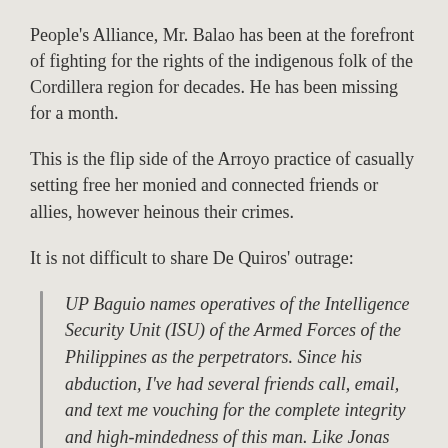People's Alliance, Mr. Balao has been at the forefront of fighting for the rights of the indigenous folk of the Cordillera region for decades. He has been missing for a month.
This is the flip side of the Arroyo practice of casually setting free her monied and connected friends or allies, however heinous their crimes.
It is not difficult to share De Quiros' outrage:
UP Baguio names operatives of the Intelligence Security Unit (ISU) of the Armed Forces of the Philippines as the perpetrators. Since his abduction, I've had several friends call, email, and text me vouching for the complete integrity and high-mindedness of this man. Like Jonas Burgos, he is an epic loss to society, or since